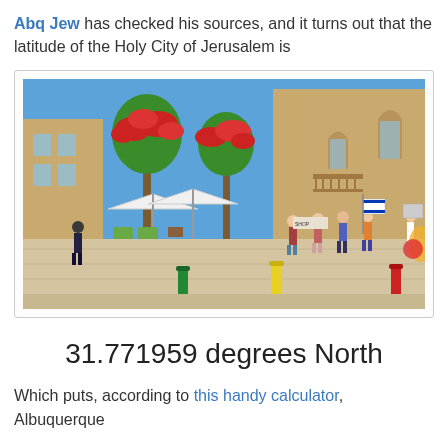Abq Jew has checked his sources, and it turns out that the latitude of the Holy City of Jerusalem is
[Figure (photo): Street scene in Jerusalem showing a pedestrian plaza with outdoor cafe seating, flowering trees with red blossoms, stone buildings, and tourists walking. Colorful bollards (green, yellow, red) in the foreground.]
31.771959 degrees North
Which puts, according to this handy calculator, Albuquerque